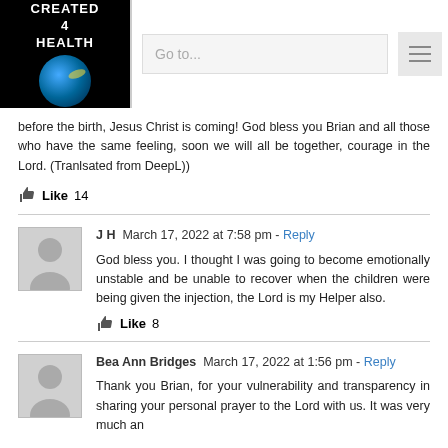CREATED 4 HEALTH — Go to... navigation
before the birth, Jesus Christ is coming! God bless you Brian and all those who have the same feeling, soon we will all be together, courage in the Lord. (Tranlsated from DeepL))
Like 14
J H  March 17, 2022 at 7:58 pm - Reply
God bless you. I thought I was going to become emotionally unstable and be unable to recover when the children were being given the injection, the Lord is my Helper also.
Like 8
Bea Ann Bridges  March 17, 2022 at 1:56 pm - Reply
Thank you Brian, for your vulnerability and transparency in sharing your personal prayer to the Lord with us. It was very much an